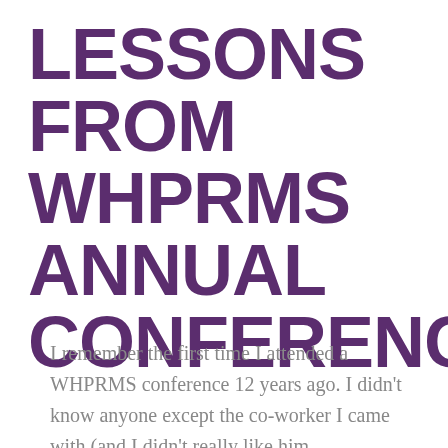LESSONS FROM WHPRMS ANNUAL CONFERENCE
I remember the first time I attended a WHPRMS conference 12 years ago. I didn't know anyone except the co-worker I came with (and I didn't really like him